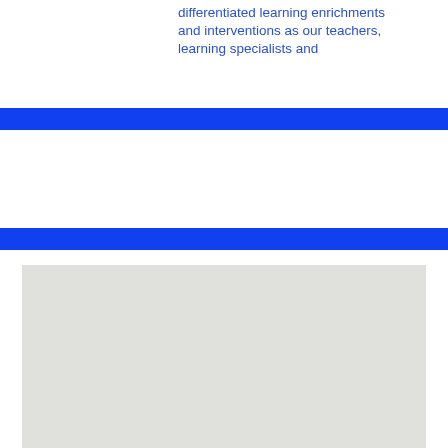differentiated learning enrichments and interventions as our teachers, learning specialists and
[Figure (other): Solid blue horizontal banner/divider bar]
[Figure (other): Solid blue horizontal banner/divider bar]
[Figure (photo): Large light gray rectangular image placeholder area]